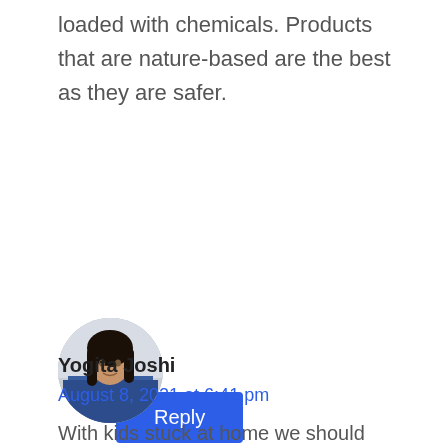loaded with chemicals. Products that are nature-based are the best as they are safer.
[Figure (other): Blue Reply button]
[Figure (photo): Circular avatar photo of Yogita Joshi, a woman with dark hair wearing a blue garment]
Yogita Joshi
August 8, 2021 at 6:41 pm
With kids stuck at home we should definitely allow them to get messy. And